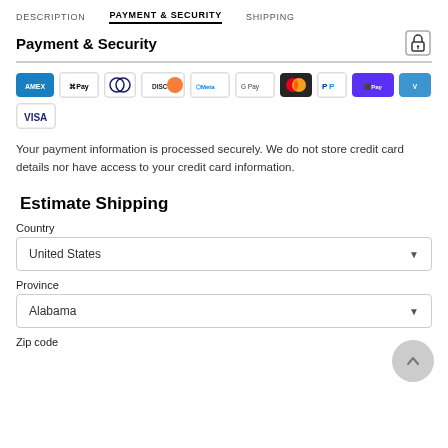DESCRIPTION   PAYMENT & SECURITY   SHIPPING
Payment & Security
[Figure (infographic): Row of payment method icons: American Express, Apple Pay, Diners Club, Discover, Meta Pay, Google Pay, Mastercard, PayPal, Shop Pay, Venmo, Visa]
Your payment information is processed securely. We do not store credit card details nor have access to your credit card information.
Estimate Shipping
Country
United States
Province
Alabama
Zip code